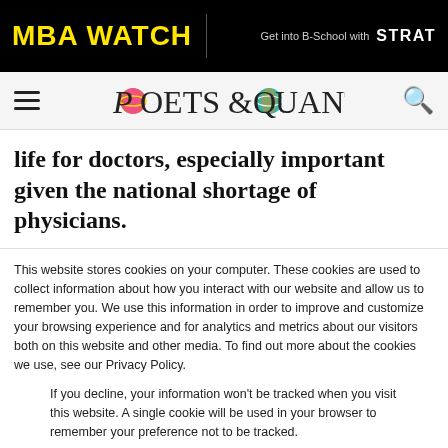MBA WATCH | Get into B-School with STRAT
POETS & QUANTS
life for doctors, especially important given the national shortage of physicians.
This website stores cookies on your computer. These cookies are used to collect information about how you interact with our website and allow us to remember you. We use this information in order to improve and customize your browsing experience and for analytics and metrics about our visitors both on this website and other media. To find out more about the cookies we use, see our Privacy Policy.
If you decline, your information won't be tracked when you visit this website. A single cookie will be used in your browser to remember your preference not to be tracked.